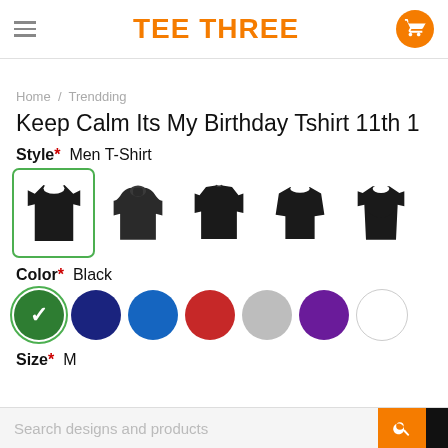TEE THREE
Home / Trendding
Keep Calm Its My Birthday Tshirt 11th 1
Style* Men T-Shirt
[Figure (illustration): Five clothing style selector icons: Men T-Shirt (selected, green border), Hoodie, Sweatshirt, Long Sleeve, Women T-Shirt — all in black silhouette]
Color* Black
[Figure (illustration): Seven color swatches: Dark Green (selected with checkmark), Navy, Blue, Red, Light Gray, Purple, White]
Size* M
Search designs and products